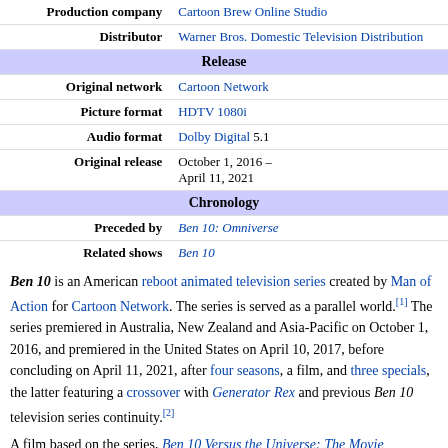| Production company | Cartoon Brew Online (link) |
| Distributor | Warner Bros. Domestic Television Distribution |
| Release |  |
| Original network | Cartoon Network |
| Picture format | HDTV 1080i |
| Audio format | Dolby Digital 5.1 |
| Original release | October 1, 2016 – April 11, 2021 |
| Chronology |  |
| Preceded by | Ben 10: Omniverse |
| Related shows | Ben 10 |
Ben 10 is an American reboot animated television series created by Man of Action for Cartoon Network. The series is served as a parallel world.[1] The series premiered in Australia, New Zealand and Asia-Pacific on October 1, 2016, and premiered in the United States on April 10, 2017, before concluding on April 11, 2021, after four seasons, a film, and three specials, the latter featuring a crossover with Generator Rex and previous Ben 10 television series continuity.[2]
A film based on the series, Ben 10 Versus the Universe: The Movie